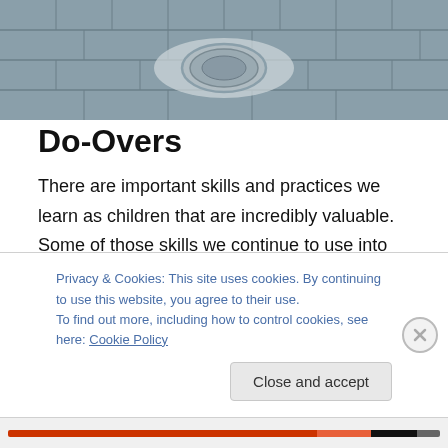[Figure (photo): Aerial or overhead photo of stone/concrete surface with a circular manhole cover or medallion in the center, in muted gray tones.]
Do-Overs
There are important skills and practices we learn as children that are incredibly valuable. Some of those skills we continue to use into adulthood and some that should follow us, don't. Practices like looking both ways before we cross the street, sharing, taking turns and blaming the dog or grandma when you fart, have traveled with us to
Privacy & Cookies: This site uses cookies. By continuing to use this website, you agree to their use.
To find out more, including how to control cookies, see here: Cookie Policy
Close and accept